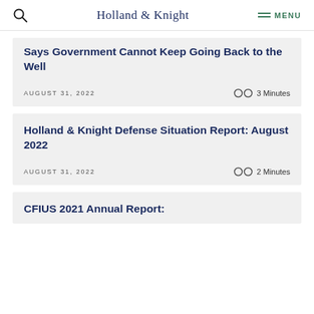Holland & Knight  MENU
Says Government Cannot Keep Going Back to the Well
AUGUST 31, 2022  3 Minutes
Holland & Knight Defense Situation Report: August 2022
AUGUST 31, 2022  2 Minutes
CFIUS 2021 Annual Report: